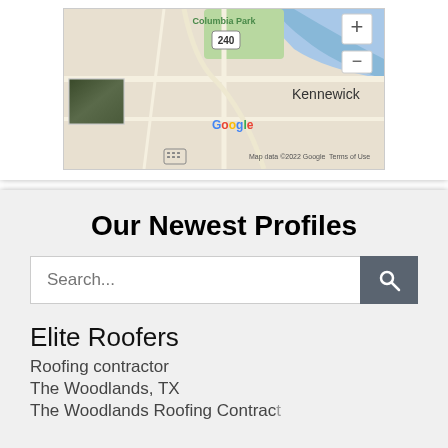[Figure (map): Google Maps screenshot showing Columbia Park area, Kennewick, with roads, water features, and satellite image thumbnail. Map data ©2022 Google. Terms of Use shown.]
Our Newest Profiles
Search...
Elite Roofers
Roofing contractor
The Woodlands, TX
The Woodlands Roofing Contractor